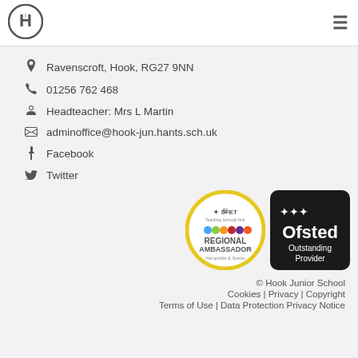[Figure (logo): Hook Junior School circular logo with H and i letters]
Ravenscroft, Hook, RG27 9NN
01256 762 468
Headteacher: Mrs L Martin
adminoffice@hook-jun.hants.sch.uk
Facebook
Twitter
[Figure (logo): SFET Teaching Schools Hub Regional Ambassador Hampshire & Surrey circular badge with coloured dots]
[Figure (logo): Ofsted Outstanding Provider black badge with stars]
© Hook Junior School
Cookies | Privacy | Copyright
Terms of Use | Data Protection Privacy Notice